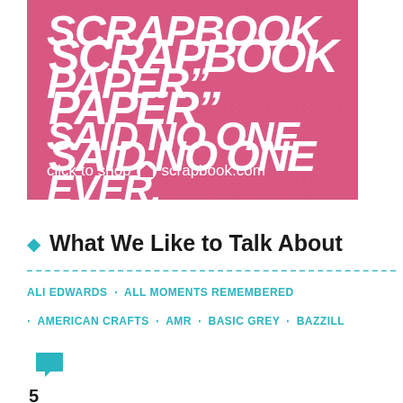[Figure (illustration): Pink/rose colored advertisement banner for scrapbook.com with white bold italic text reading 'SCRAPBOOK PAPER" SAID NO ONE EVER.' and 'click to shop [house icon] scrapbook.com' at the bottom]
What We Like to Talk About
ALI EDWARDS · ALL MOMENTS REMEMBERED
· AMERICAN CRAFTS · AMR · BASIC GREY · BAZZILL
5 Comments